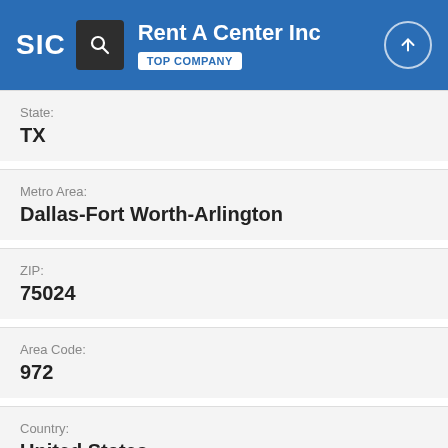Rent A Center Inc — TOP COMPANY
State: TX
Metro Area: Dallas-Fort Worth-Arlington
ZIP: 75024
Area Code: 972
Country: United States